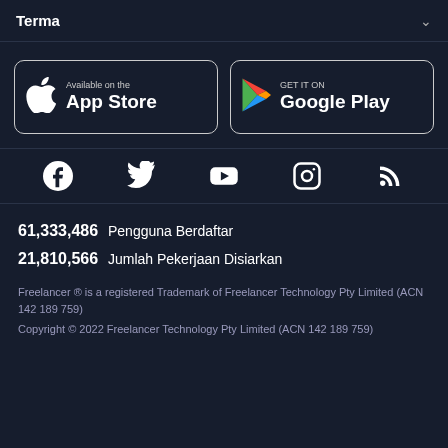Terma
[Figure (logo): App Store and Google Play download buttons side by side]
[Figure (infographic): Social media icons: Facebook, Twitter, YouTube, Instagram, RSS]
61,333,486  Pengguna Berdaftar
21,810,566  Jumlah Pekerjaan Disiarkan
Freelancer ® is a registered Trademark of Freelancer Technology Pty Limited (ACN 142 189 759)
Copyright © 2022 Freelancer Technology Pty Limited (ACN 142 189 759)